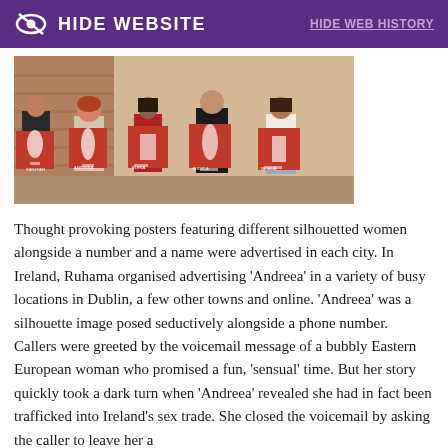HIDE WEBSITE    HIDE WEB HISTORY
[Figure (photo): Five people standing in a row, each holding a red poster featuring a white silhouette of a woman alongside a number and a name, in what appears to be an indoor event space.]
Thought provoking posters featuring different silhouetted women alongside a number and a name were advertised in each city. In Ireland, Ruhama organised advertising ‘Andreea’ in a variety of busy locations in Dublin, a few other towns and online. ‘Andreea’ was a silhouette image posed seductively alongside a phone number. Callers were greeted by the voicemail message of a bubbly Eastern European woman who promised a fun, ‘sensual’ time. But her story quickly took a dark turn when ‘Andreea’ revealed she had in fact been trafficked into Ireland’s sex trade. She closed the voicemail by asking the caller to leave her a